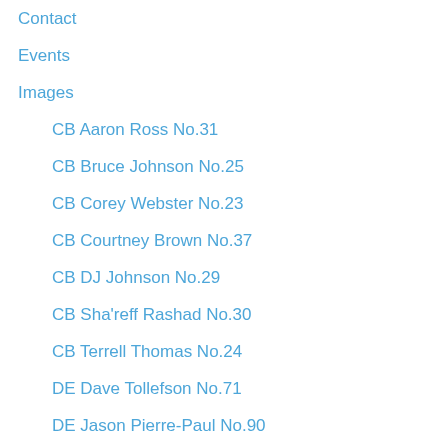Contact
Events
Images
CB Aaron Ross No.31
CB Bruce Johnson No.25
CB Corey Webster No.23
CB Courtney Brown No.37
CB DJ Johnson No.29
CB Sha'reff Rashad No.30
CB Terrell Thomas No.24
DE Dave Tollefson No.71
DE Jason Pierre-Paul No.90
DE Justin Tuck No.91
DE Mathias Kiwanuka No.94
DE Osi Umenyiora No.72
Defensive Coordinator Perry Fewell
DT Barry Cofield No.96
DT Chris Canty No.99
DT Jay Alford No.93
DT Linval Joseph No.97